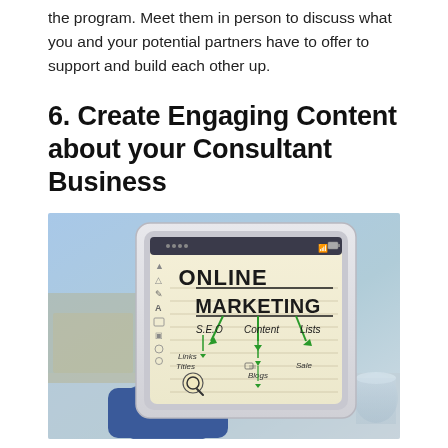the program. Meet them in person to discuss what you and your potential partners have to offer to support and build each other up.
6. Create Engaging Content about your Consultant Business
[Figure (photo): A person holding a tablet displaying an online marketing diagram with text: ONLINE MARKETING, S.E.O, Content, Links, Titles, Blogs, Lists, Sale, with green arrows pointing to each subcategory.]